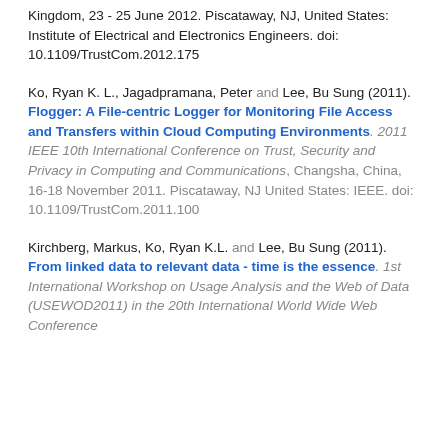Kingdom, 23 - 25 June 2012. Piscataway, NJ, United States: Institute of Electrical and Electronics Engineers. doi: 10.1109/TrustCom.2012.175
Ko, Ryan K. L., Jagadpramana, Peter and Lee, Bu Sung (2011).
Flogger: A File-centric Logger for Monitoring File Access and Transfers within Cloud Computing Environments. 2011 IEEE 10th International Conference on Trust, Security and Privacy in Computing and Communications, Changsha, China, 16-18 November 2011. Piscataway, NJ United States: IEEE. doi: 10.1109/TrustCom.2011.100
Kirchberg, Markus, Ko, Ryan K.L. and Lee, Bu Sung (2011).
From linked data to relevant data - time is the essence. 1st International Workshop on Usage Analysis and the Web of Data (USEWOD2011) in the 20th International World Wide Web Conference